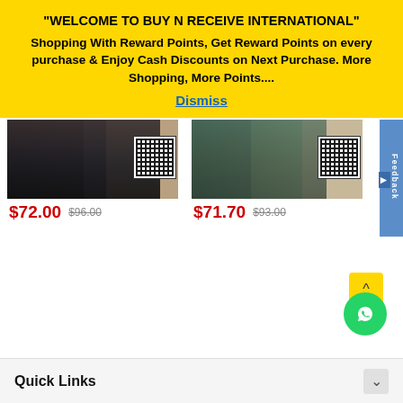"WELCOME TO BUY N RECEIVE INTERNATIONAL" Shopping With Reward Points, Get Reward Points on every purchase & Enjoy Cash Discounts on Next Purchase. More Shopping, More Points.... Dismiss
[Figure (photo): Product image showing dark clothing/abaya with QR code, priced at $72.00 (original $96.00)]
$72.00  $96.00
[Figure (photo): Product image showing camouflage pants and sandals with QR code, priced at $71.70 (original $93.00)]
$71.70  $93.00
Quick Links